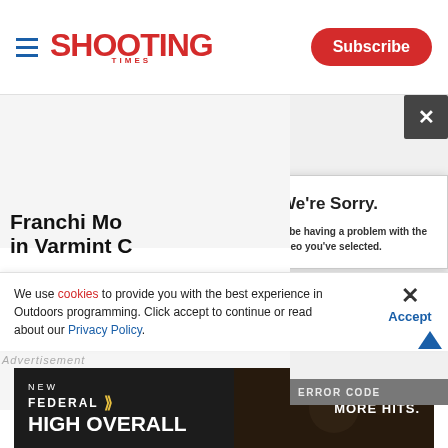SHOOTING TIMES | Subscribe
Franchi Mo... in Varmint C...
Joel J. Hutcho...
[Figure (screenshot): Video error dialog overlay with close button (x) and message: We're Sorry. We seem to be having a problem with the video you've selected. Error code bar at bottom.]
We're Sorry.
We seem to be having a problem with the video you've selected.
We use cookies to provide you with the best experience in Outdoors programming. Click accept to continue or read about our Privacy Policy.
Advertisement
[Figure (photo): Federal High Overall ammunition advertisement banner with dark background showing ammunition/shotgun shells image. Text: NEW FEDERAL (with logo symbol) HIGH OVERALL MORE HITS.]